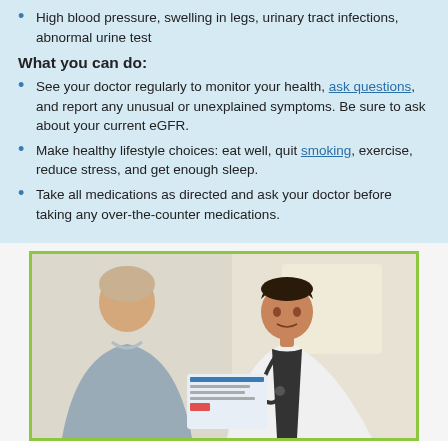High blood pressure, swelling in legs, urinary tract infections, abnormal urine test
What you can do:
See your doctor regularly to monitor your health, ask questions, and report any unusual or unexplained symptoms. Be sure to ask about your current eGFR.
Make healthy lifestyle choices: eat well, quit smoking, exercise, reduce stress, and get enough sleep.
Take all medications as directed and ask your doctor before taking any over-the-counter medications.
[Figure (photo): A doctor in a white coat with a stethoscope consulting with a patient, holding papers, in a clinical setting.]